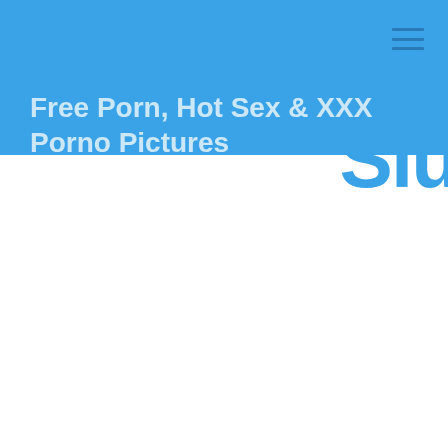Free Porn, Hot Sex & XXX Porno Pictures
Slu